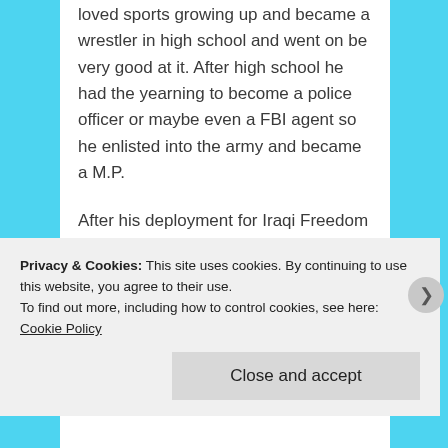loved sports growing up and became a wrestler in high school and went on be very good at it. After high school he had the yearning to become a police officer or maybe even a FBI agent so he enlisted into the army and became a M.P.

After his deployment for Iraqi Freedom he returned home and resumed his guard duties. My boy and me had quite a relationship – not only working for me but we went on building houses and renovated many more. My son could do anything with his hands and mind; he was very
Privacy & Cookies: This site uses cookies. By continuing to use this website, you agree to their use.
To find out more, including how to control cookies, see here: Cookie Policy
Close and accept